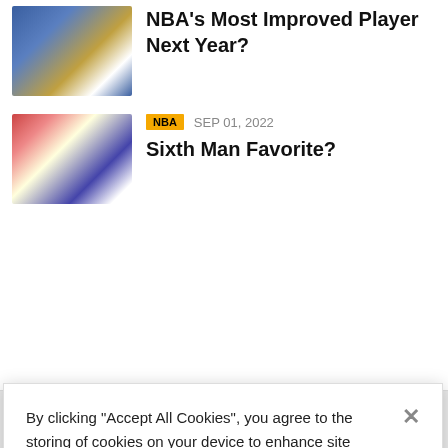[Figure (photo): NBA basketball player dribbling in a blue uniform]
NBA's Most Improved Player Next Year?
[Figure (photo): NBA basketball player on court with crowd in background]
NBA  SEP 01, 2022
Sixth Man Favorite?
By clicking “Accept All Cookies”, you agree to the storing of cookies on your device to enhance site navigation, analyze site usage, and assist in our marketing efforts.
Cookies Settings
Reject All
Accept All Cookies